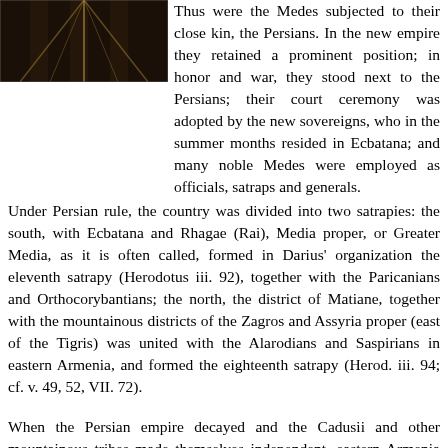[Figure (photo): Dark image showing what appears to be pillars or columns with a dark background, partial view at top-left of page]
Thus were the Medes subjected to their close kin, the Persians. In the new empire they retained a prominent position; in honor and war, they stood next to the Persians; their court ceremony was adopted by the new sovereigns, who in the summer months resided in Ecbatana; and many noble Medes were employed as officials, satraps and generals.
Under Persian rule, the country was divided into two satrapies: the south, with Ecbatana and Rhagae (Rai), Media proper, or Greater Media, as it is often called, formed in Darius' organization the eleventh satrapy (Herodotus iii. 92), together with the Paricanians and Orthocorybantians; the north, the district of Matiane, together with the mountainous districts of the Zagros and Assyria proper (east of the Tigris) was united with the Alarodians and Saspirians in eastern Armenia, and formed the eighteenth satrapy (Herod. iii. 94; cf. v. 49, 52, VII. 72).
When the Persian empire decayed and the Cadusii and other mountainous tribes made themselves independent, eastern Armenia became a special satrapy, while Assyria